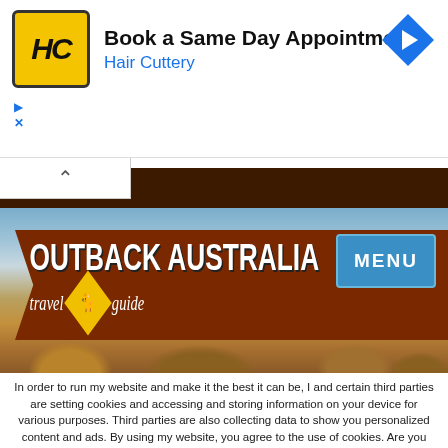[Figure (screenshot): Hair Cuttery advertisement banner: yellow square logo with HC initials, text 'Book a Same Day Appointment' and 'Hair Cuttery' in blue, blue diamond direction arrow icon on right]
[Figure (screenshot): Outback Australia Travel Guide website header with brown rustic sign logo, desert landscape background, and blue MENU button]
In order to run my website and make it the best it can be, I and certain third parties are setting cookies and accessing and storing information on your device for various purposes. Third parties are also collecting data to show you personalized content and ads. By using my website, you agree to the use of cookies. Are you still happy to allow cookies? If yes, please click the button below. To learn more about cookies and about how your data is collected and protected see my Privacy Policy.